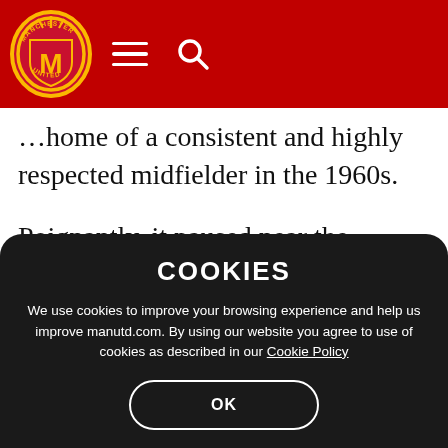Manchester United header with logo, hamburger menu, and search icon
…home of a consistent and highly respected midfielder in the 1960s.
Poignantly, it paused near the statues of Nobby's United manager, Sir Matt Busby, and three of his most famous team-mates, namely George Best, Sir Bobby Charlton and Denis Law.
COOKIES
We use cookies to improve your browsing experience and help us improve manutd.com. By using our website you agree to use of cookies as described in our Cookie Policy
OK